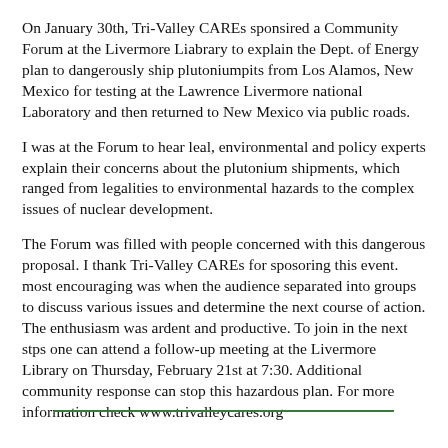On January 30th, Tri-Valley CAREs sponsired a Community Forum at the Livermore Liabrary to explain the Dept. of Energy plan to dangerously ship plutoniumpits from Los Alamos, New Mexico for testing at the Lawrence Livermore national Laboratory and then returned to New Mexico via public roads.
I was at the Forum to hear leal, environmental and policy experts explain their concerns about the plutonium shipments, which ranged from legalities to environmental hazards to the complex issues of nuclear development.
The Forum was filled with people concerned with this dangerous proposal. I thank Tri-Valley CAREs for sposoring this event. most encouraging was when the audience separated into groups to discuss various issues and determine the next course of action. The enthusiasm was ardent and productive. To join in the next stps one can attend a follow-up meeting at the Livermore Library on Thursday, February 21st at 7:30. Additional community response can stop this hazardous plan. For more information check www.trivalleycares.org